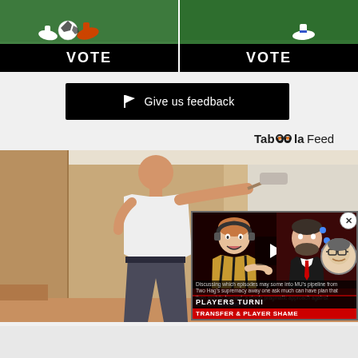[Figure (screenshot): Two soccer/football images side by side showing players kicking a ball on a green field, each with a black VOTE button beneath]
[Figure (screenshot): Black button with white flag icon and text 'Give us feedback']
[Figure (logo): Taboola Feed logo in top right]
[Figure (photo): Man painting a room wall with a roller, from behind, wearing white t-shirt, with a video overlay thumbnail showing Manchester United content with text 'PLAYERS TURNI' and 'TRANSFER & PLAYER SHAME']